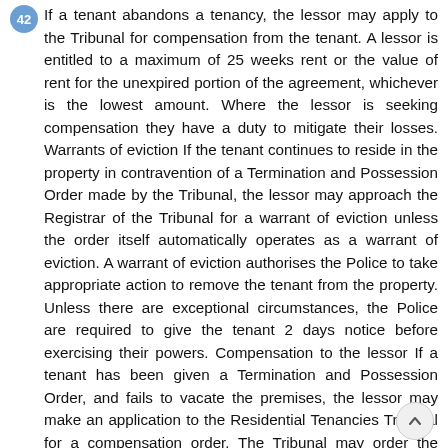42 If a tenant abandons a tenancy, the lessor may apply to the Tribunal for compensation from the tenant. A lessor is entitled to a maximum of 25 weeks rent or the value of rent for the unexpired portion of the agreement, whichever is the lowest amount. Where the lessor is seeking compensation they have a duty to mitigate their losses. Warrants of eviction If the tenant continues to reside in the property in contravention of a Termination and Possession Order made by the Tribunal, the lessor may approach the Registrar of the Tribunal for a warrant of eviction unless the order itself automatically operates as a warrant of eviction. A warrant of eviction authorises the Police to take appropriate action to remove the tenant from the property. Unless there are exceptional circumstances, the Police are required to give the tenant 2 days notice before exercising their powers. Compensation to the lessor If a tenant has been given a Termination and Possession Order, and fails to vacate the premises, the lessor may make an application to the Residential Tenancies Tribunal for a compensation order. The Tribunal may order the tenant to pay any rent for the period during which the tenant remains in possession of the premises. The Tribunal may also order that the tenant pay the